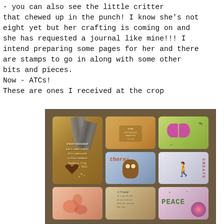- you can also see the little critter that chewed up in the punch! I know she's not eight yet but her crafting is coming on and she has requested a journal like mine!!! I intend preparing some pages for her and there are stamps to go in along with some other bits and pieces.
Now - ATCs!
These are ones I received at the crop
[Figure (photo): A collection of Artist Trading Cards (ATCs) arranged on a brown wooden surface. Cards include: a gold glittery card with ribbon decoration and friendship text with a heart, an orange/yellow mixed media card with handwritten text, a green card with a purple butterfly and scissors, a brown card with an owl illustration and 'there!' text, a white card with a girl figure and 'create' text, and additional cards at the bottom partially visible including a floral/pink card, a handwritten text card, and a pink mandala card.]